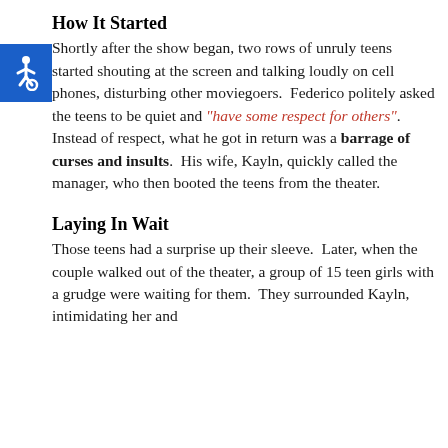How It Started
Shortly after the show began, two rows of unruly teens started shouting at the screen and talking loudly on cell phones, disturbing other moviegoers.  Federico politely asked the teens to be quiet and “have some respect for others”.  Instead of respect, what he got in return was a barrage of curses and insults.  His wife, Kayln, quickly called the manager, who then booted the teens from the theater.
Laying In Wait
Those teens had a surprise up their sleeve.  Later, when the couple walked out of the theater, a group of 15 teen girls with a grudge were waiting for them.  They surrounded Kayln, intimidating her and